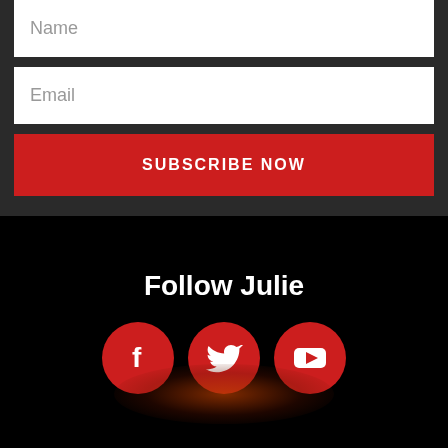Name
Email
SUBSCRIBE NOW
Follow Julie
[Figure (illustration): Three red circular social media icons: Facebook (f), Twitter (bird), YouTube (play button triangle), with a warm orange-red glow beneath them on a black background.]